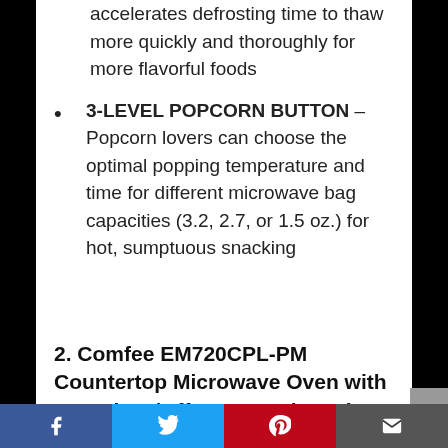accelerates defrosting time to thaw more quickly and thoroughly for more flavorful foods
3-LEVEL POPCORN BUTTON – Popcorn lovers can choose the optimal popping temperature and time for different microwave bag capacities (3.2, 2.7, or 1.5 oz.) for hot, sumptuous snacking
2. Comfee EM720CPL-PM Countertop Microwave Oven with Sound On/Off, ECO Mode and Easy